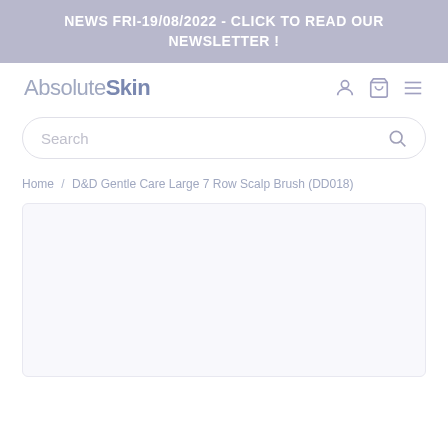NEWS FRI-19/08/2022 - CLICK TO READ OUR NEWSLETTER !
[Figure (logo): AbsoluteSkin logo with navigation icons (user, cart, hamburger menu)]
Search
Home / D&D Gentle Care Large 7 Row Scalp Brush (DD018)
[Figure (photo): Product image area - empty/placeholder for D&D Gentle Care Large 7 Row Scalp Brush (DD018)]